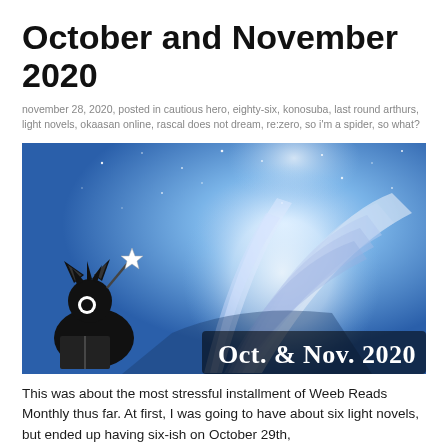October and November 2020
november 28, 2020, posted in cautious hero, eighty-six, konosuba, last round arthurs, light novels, okaasan online, rascal does not dream, re:zero, so i'm a spider, so what?
[Figure (illustration): Banner image with a glowing open book on a blue starry background. A black and white anime-style cat character is reading in the bottom left. Text reads 'Oct. & Nov. 2020' in white lettering at the bottom right.]
This was about the most stressful installment of Weeb Reads Monthly thus far. At first, I was going to have about six light novels, but ended up having six-ish on October 29th,